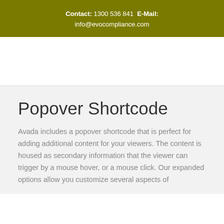Contact: 1300 536 841  E-Mail: info@evocompliance.com
Popover Shortcode
Avada includes a popover shortcode that is perfect for adding additional content for your viewers. The content is housed as secondary information that the viewer can trigger by a mouse hover, or a mouse click. Our expanded options allow you customize several aspects of